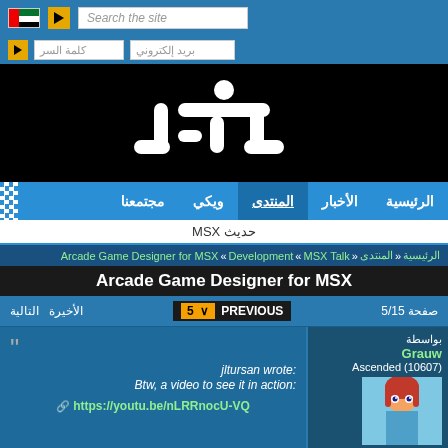Search the site
بريد إلكتروني | كلمة السر
[Figure (logo): MSX Resource Center logo - white Arabic-style text on black background]
الرئيسية | الأخبار | المنتدى | ويكي | مجتمعنا
حديث MSX
الرئيسية « المنتدى « MSX Talk » Development » Arcade Game Designer for MSX
Arcade Game Designer for MSX
الأخيرة التالية  5 ∨  PREVIOUS  صفحة 5/15
jltursan wrote:
Btw, a video to see it in action:
https://youtu.be/nLRRnocU-VQ
بواسطة Grauw
Ascended (10607)
27-08-2019, 19:42
"Link says "video not available".
it works to me
بواسطة ARTRAG